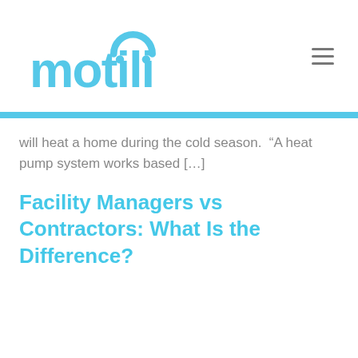motili
will heat a home during the cold season.  “A heat pump system works based […]
Facility Managers vs Contractors: What Is the Difference?